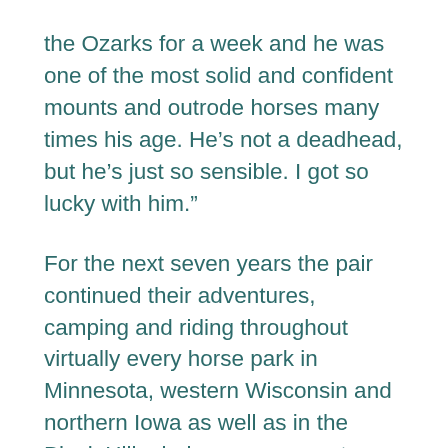the Ozarks for a week and he was one of the most solid and confident mounts and outrode horses many times his age. He’s not a deadhead, but he’s just so sensible. I got so lucky with him.”
For the next seven years the pair continued their adventures, camping and riding throughout virtually every horse park in Minnesota, western Wisconsin and northern Iowa as well as in the Black Hills during a year spent living in Colorado. But they also began dabbling in dressage. “Growing up I always watched dressage when I could and thought it was so cool and beautiful and I never lost the